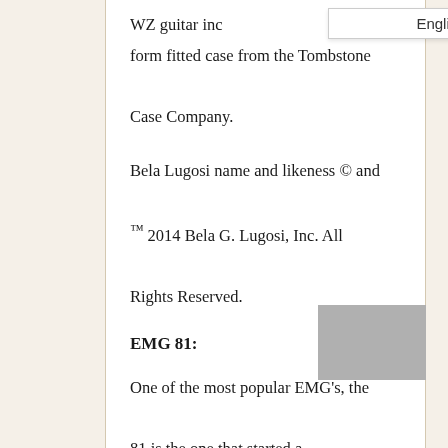WZ guitar inc form fitted case from the Tombstone Case Company.
Bela Lugosi name and likeness © and ™ 2014 Bela G. Lugosi, Inc. All Rights Reserved.
EMG 81:
One of the most popular EMG's, the 81 is the one that started a revolution. Utilizing powerful ceramic magnets and close aperture coils, the tone was designed with detailed intensity, incredible amounts of high end cut, and fluid